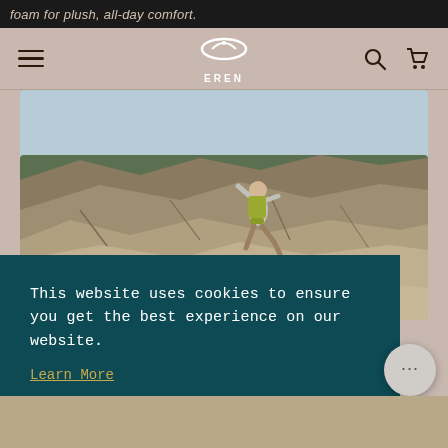foam for plush, all-day comfort.
EREN (navigation bar with logo, search, cart icons)
[Figure (photo): Person with yellow backpack jumping across rocky terrain in a desert landscape with sparse trees and a wide sky background]
This website uses cookies to ensure you get the best experience on our website.
Learn More
Got it!